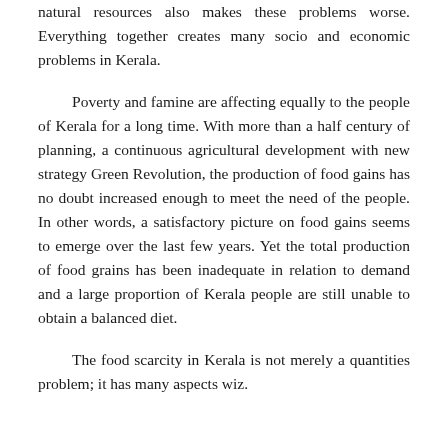natural resources also makes these problems worse. Everything together creates many socio and economic problems in Kerala.
Poverty and famine are affecting equally to the people of Kerala for a long time. With more than a half century of planning, a continuous agricultural development with new strategy Green Revolution, the production of food gains has no doubt increased enough to meet the need of the people. In other words, a satisfactory picture on food gains seems to emerge over the last few years. Yet the total production of food grains has been inadequate in relation to demand and a large proportion of Kerala people are still unable to obtain a balanced diet.
The food scarcity in Kerala is not merely a quantities problem; it has many aspects wiz.